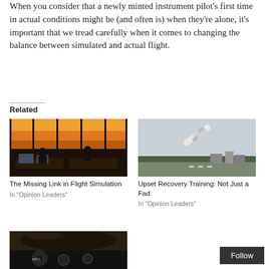When you consider that a newly minted instrument pilot's first time in actual conditions might be (and often is) when they're alone, it's important that we tread carefully when it comes to changing the balance between simulated and actual flight.
Related
[Figure (photo): ATC tower interior with operators at workstations, sunset visible through windows]
The Missing Link in Flight Simulation
In "Opinion Leaders"
[Figure (photo): Airplane taking off steeply against cloudy sky with trees and buildings below]
Upset Recovery Training: Not Just a Fad
In "Opinion Leaders"
[Figure (photo): Partial image of cockpit interior, bottom of page]